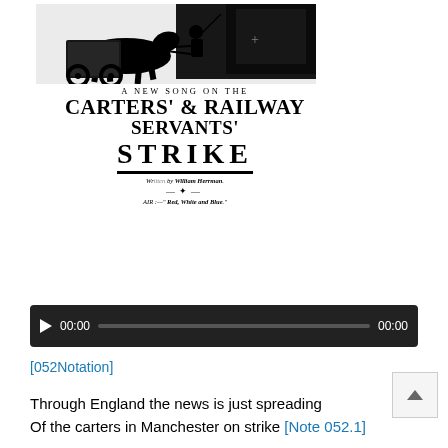[Figure (illustration): Scanned broadside cover image showing a horse-drawn cart at top, with text: 'A NEW SONG ON THE CARTERS' & RAILWAY SERVANTS' STRIKE. Written by William Herrman. AIR:—"Red, White and Blue."']
[Figure (other): Audio player bar with play button, 00:00 start time, progress bar, and 00:00 end time on dark background]
[052Notation]
Through England the news is just spreading
Of the carters in Manchester on strike [Note 052.1]